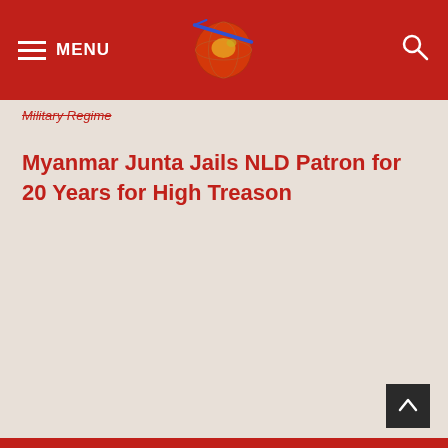MENU
Military Regime
Myanmar Junta Jails NLD Patron for 20 Years for High Treason